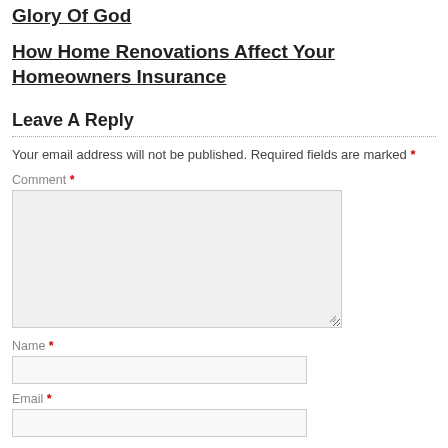Glory Of God
How Home Renovations Affect Your Homeowners Insurance
Leave A Reply
Your email address will not be published. Required fields are marked *
Comment *
Name *
Email *